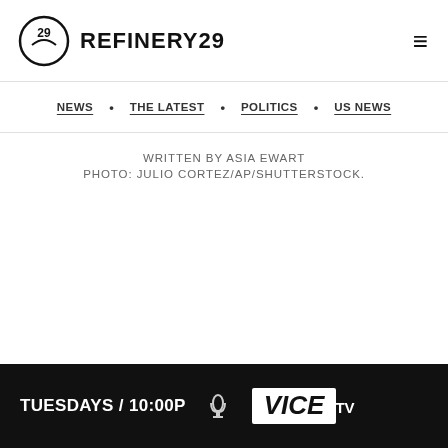REFINERY29
NEWS • THE LATEST • POLITICS • US NEWS
WRITTEN BY ASIA EWART
PHOTO: JULIO CORTEZ/AP/SHUTTERSTOCK.
[Figure (screenshot): Advertisement banner for VICE TV: TUESDAYS / 10:00P with microphone icon and VICE TV logo on dark background]